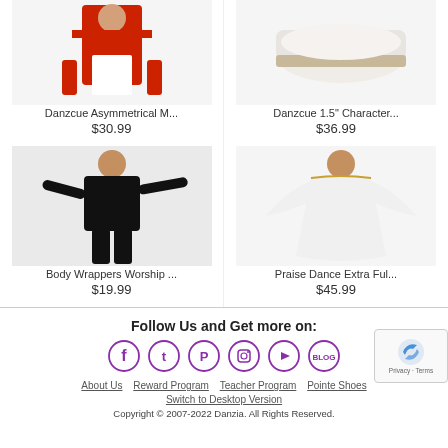[Figure (photo): Danzcue Asymmetrical M... product photo - red and white dance garment]
Danzcue Asymmetrical M...
$30.99
[Figure (photo): Danzcue 1.5" Character... product photo - white character shoes]
Danzcue 1.5" Character...
$36.99
[Figure (photo): Body Wrappers Worship ... product photo - man in black outfit]
Body Wrappers Worship ...
$19.99
[Figure (photo): Praise Dance Extra Ful... product photo - woman in white dress]
Praise Dance Extra Ful...
$45.99
Follow Us and Get more on:
[Figure (infographic): Social media icons: Facebook, Twitter, Pinterest, Instagram, YouTube, Blog]
About Us  Reward Program  Teacher Program  Pointe Shoes
Switch to Desktop Version
Copyright © 2007-2022 Danzia. All Rights Reserved.